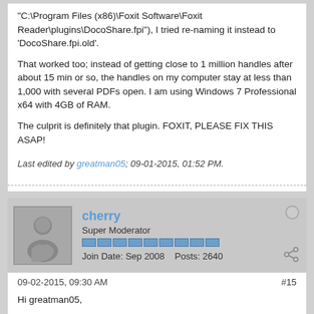"C:\Program Files (x86)\Foxit Software\Foxit Reader\plugins\DocoShare.fpi"), I tried re-naming it instead to 'DocoShare.fpi.old'.

That worked too; instead of getting close to 1 million handles after about 15 min or so, the handles on my computer stay at less than 1,000 with several PDFs open. I am using Windows 7 Professional x64 with 4GB of RAM.

The culprit is definitely that plugin. FOXIT, PLEASE FIX THIS ASAP!
Last edited by greatman05; 09-01-2015, 01:52 PM.
cherry
Super Moderator
Join Date: Sep 2008    Posts: 2640
09-02-2015, 09:30 AM
#15
Hi greatman05,

Foxit QA team has been aware of this and are investigating on it. Thank you.